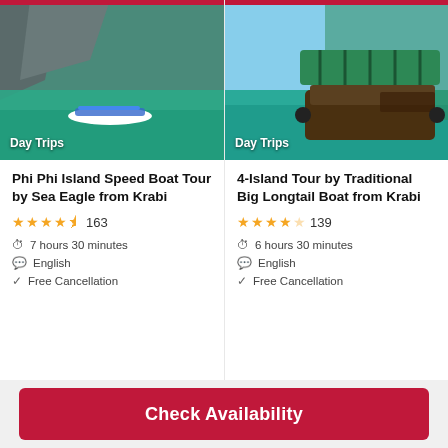[Figure (photo): Aerial view of speedboat on turquoise water near limestone cliffs, Phi Phi Island, Krabi]
Day Trips
Phi Phi Island Speed Boat Tour by Sea Eagle from Krabi
★★★★½ 163
7 hours 30 minutes
English
Free Cancellation
[Figure (photo): Traditional big longtail boat (Nang) docked near tropical island with turquoise water]
Day Trips
4-Island Tour by Traditional Big Longtail Boat from Krabi
★★★★☆ 139
6 hours 30 minutes
English
Free Cancellation
Check Availability